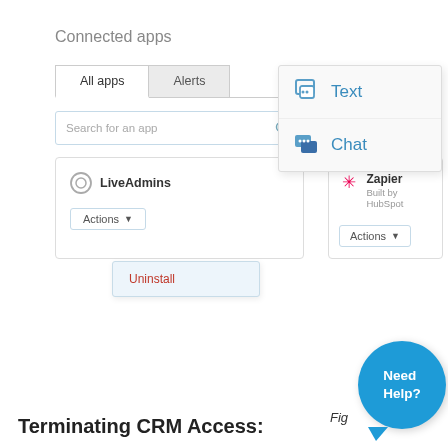Connected apps
[Figure (screenshot): CRM connected apps interface showing tabs 'All apps' and 'Alerts', a search bar, app cards for LiveAdmins and Zapier with Actions dropdowns, an Uninstall dropdown, a Text/Chat popup menu, and a 'Need Help?' button. Caption 'Fig' is partially visible.]
Terminating CRM Access: